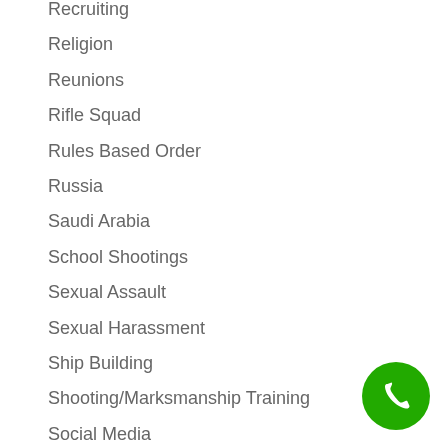Recruiting
Religion
Reunions
Rifle Squad
Rules Based Order
Russia
Saudi Arabia
School Shootings
Sexual Assault
Sexual Harassment
Ship Building
Shooting/Marksmanship Training
Social Media
Somalia
South America
[Figure (illustration): Green circular phone/call button icon in the bottom right corner]